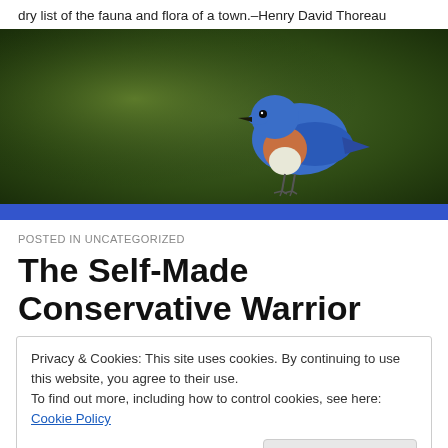dry list of the fauna and flora of a town.–Henry David Thoreau
[Figure (photo): A bluebird perched against a dark green blurred background, wide banner crop.]
POSTED IN UNCATEGORIZED
The Self-Made Conservative Warrior
Privacy & Cookies: This site uses cookies. By continuing to use this website, you agree to their use.
To find out more, including how to control cookies, see here: Cookie Policy
[Close and accept]
right-wing talking points and stretching of the truth). Let's